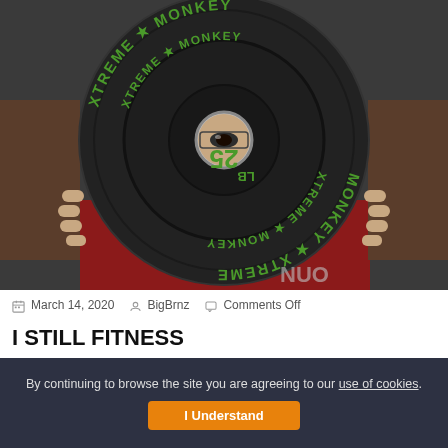[Figure (photo): Person holding up a black rubber bumper weight plate labeled 'XTREME MONKEY 25 LB' with green lettering, photographed from close up so the plate fills the frame and the person's eyes are visible through the center hole.]
March 14, 2020  BigBrnz  Comments Off
I STILL FITNESS
By continuing to browse the site you are agreeing to our use of cookies.
I Understand